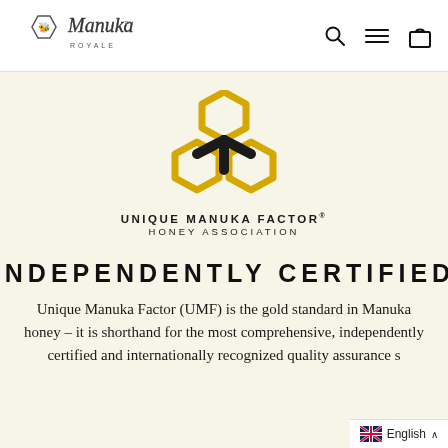Manuka Royale
[Figure (logo): Unique Manuka Factor Honey Association logo — three golden hexagons arranged in a triangle with a black Y-shaped symbol in the center, with text UNIQUE MANUKA FACTOR HONEY ASSOCIATION below.]
INDEPENDENTLY CERTIFIED
Unique Manuka Factor (UMF) is the gold standard in Manuka honey – it is shorthand for the most comprehensive, independently certified and internationally recognized quality assurance s